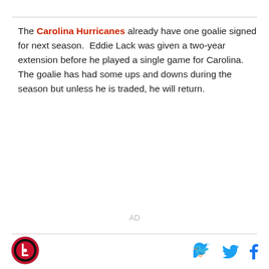The Carolina Hurricanes already have one goalie signed for next season.  Eddie Lack was given a two-year extension before he played a single game for Carolina.  The goalie has had some ups and downs during the season but unless he is traded, he will return.
AD
[Figure (logo): Carolina Hurricanes circular logo with red and black design]